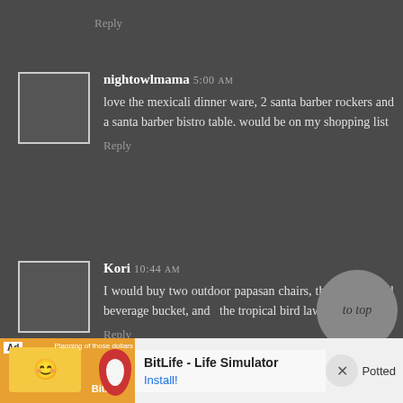Reply
nightowlmama 5:00 AM
love the mexicali dinner ware, 2 santa barber rockers and a santa barber bistro table. would be on my shopping list
Reply
Kori 10:44 AM
I would buy two outdoor papasan chairs, the green metal beverage bucket, and  the tropical bird lawn decor!
Reply
[Figure (other): Advertisement banner for BitLife - Life Simulator app with install button]